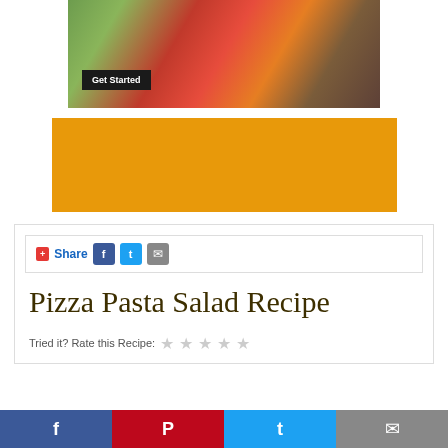[Figure (photo): Food photo showing vegetables including tomatoes, avocado, greens with a Get Started button overlay]
[Figure (other): Orange/amber colored banner advertisement block]
+ Share [Facebook] [Twitter] [Email]
Pizza Pasta Salad Recipe
Tried it? Rate this Recipe: ★★★★★
[Figure (other): Social sharing footer bar with Facebook, Pinterest, Twitter, and Email icons]